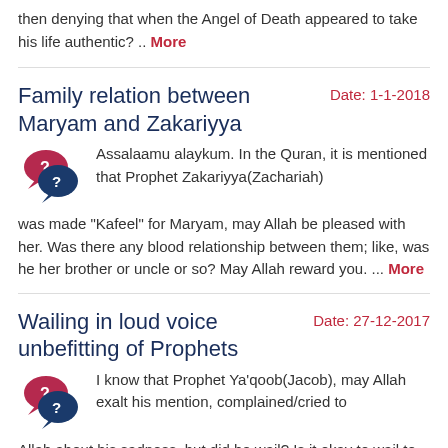then denying that when the Angel of Death appeared to take his life authentic? .. More
Family relation between Maryam and Zakariyya
Date: 1-1-2018
Assalaamu alaykum. In the Quran, it is mentioned that Prophet Zakariyya(Zachariah) was made "Kafeel" for Maryam, may Allah be pleased with her. Was there any blood relationship between them; like, was he her brother or uncle or so? May Allah reward you. ... More
Wailing in loud voice unbefitting of Prophets
Date: 27-12-2017
I know that Prophet Ya'qoob(Jacob), may Allah exalt his mention, complained/cried to Allah about his sadness, but did he wail? Is it okay to wail to Allah? There is a hadith that says that wailing